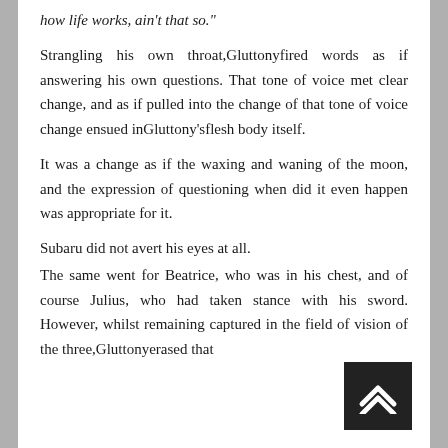how life works, ain't that so."
Strangling his own throat,​Gluttony​fired words as if answering his own questions. That tone of voice met clear change, and as if pulled into the change of that tone of voice change ensued in​Gluttony's​flesh body itself.
It was a change as if the waxing and waning of the moon, and the expression of questioning when did it even happen was appropriate for it.
Subaru did not avert his eyes at all.
The same went for Beatrice, who was in his chest, and of course Julius, who had taken stance with his sword. However, whilst remaining captured in the field of vision of the three,​Gluttony​erased that